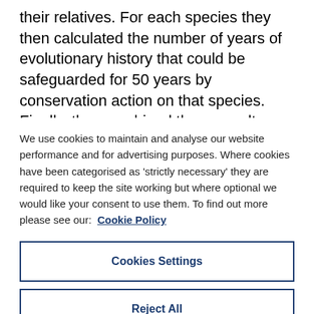their relatives. For each species they then calculated the number of years of evolutionary history that could be safeguarded for 50 years by conservation action on that species. Finally, they combined these results with the estimated cost of reducing each species' extinction risk by at least one Red List category within ten years.
We use cookies to maintain and analyse our website performance and for advertising purposes. Where cookies have been categorised as 'strictly necessary' they are required to keep the site working but where optional we would like your consent to use them. To find out more please see our: Cookie Policy
Cookies Settings
Reject All
Accept All Cookies